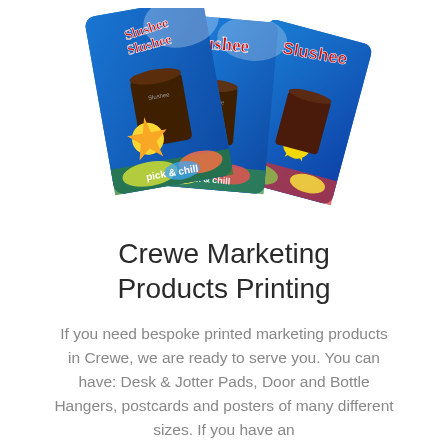[Figure (photo): Three colorful Slushee branded loyalty/gift cards fanned out, showing blue background with red Slushee script logo, colorful drinks, yellow sun burst design elements, and 'pick & chill' text at the bottom.]
Crewe Marketing Products Printing
If you need bespoke printed marketing products in Crewe, we are ready to serve you. You can have: Desk & Jotter Pads, Door and Bottle Hangers, postcards and posters of many different sizes. If you have an